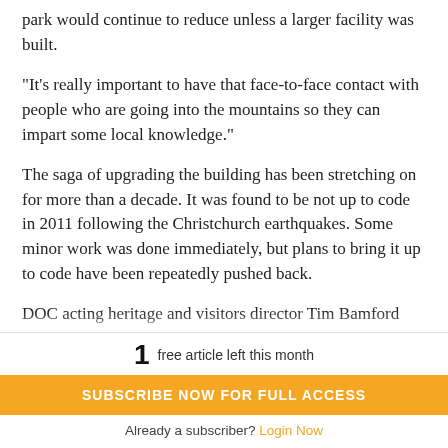park would continue to reduce unless a larger facility was built.
“It’s really important to have that face-to-face contact with people who are going into the mountains so they can impart some local knowledge.”
The saga of upgrading the building has been stretching on for more than a decade. It was found to be not up to code in 2011 following the Christchurch earthquakes. Some minor work was done immediately, but plans to bring it up to code have been repeatedly pushed back.
DOC acting heritage and visitors director Tim Bamford would not provide a timeline for when work would start, or even when a decision would be made on the visitor centre. Bamford said work was “ongoing”, but “DOC remains
1 free article left this month
SUBSCRIBE NOW FOR FULL ACCESS
Already a subscriber? Login Now